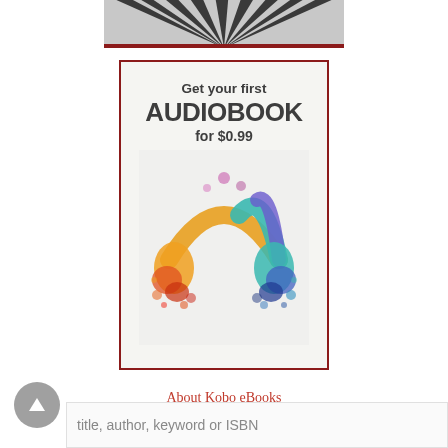[Figure (illustration): Radiating black and white stripes converging to a point at the top, resembling a starburst or sunray pattern in grayscale]
[Figure (illustration): Advertisement banner with dark red border: 'Get your first AUDIOBOOK for $0.99' with colorful paint-splatter headphones graphic below the text]
About Kobo eBooks
[Figure (illustration): Circular scroll-to-top button (gray)]
title, author, keyword or ISBN